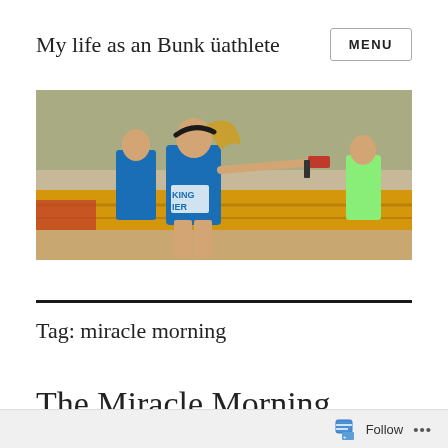My life as an Bunk üathlete
[Figure (photo): A female athlete in a blue tank top and headband extends her arm holding a starting pistol at what appears to be a sporting event with yellow barriers and crowd in background.]
Tag: miracle morning
The Miracle Morning
Follow ...